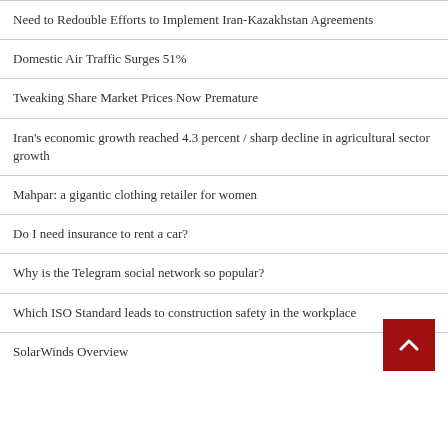Need to Redouble Efforts to Implement Iran-Kazakhstan Agreements
Domestic Air Traffic Surges 51%
Tweaking Share Market Prices Now Premature
Iran's economic growth reached 4.3 percent / sharp decline in agricultural sector growth
Mahpar: a gigantic clothing retailer for women
Do I need insurance to rent a car?
Why is the Telegram social network so popular?
Which ISO Standard leads to construction safety in the workplace
SolarWinds Overview